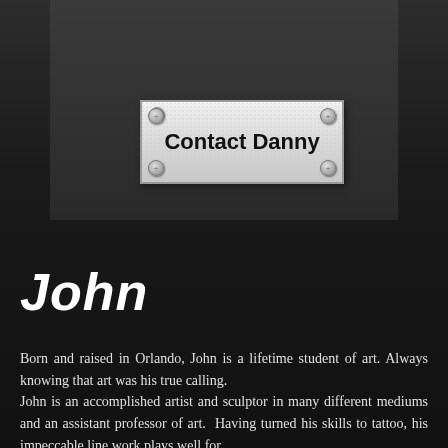[Figure (other): A metallic plaque-style button with screws at four corners on a dark background, reading 'Contact Danny' in bold black text]
John
Born and raised in Orlando, John is a lifetime student of art. Always knowing that art was his true calling.
John is an accomplished artist and sculptor in many different mediums and an assistant professor of art. Having turned his skills to tattoo, his impeccable line work plays well for